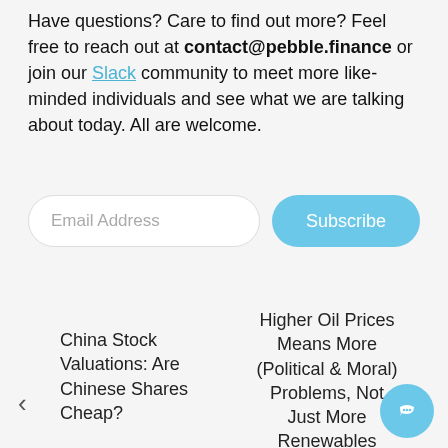Have questions? Care to find out more? Feel free to reach out at contact@pebble.finance or join our Slack community to meet more like-minded individuals and see what we are talking about today. All are welcome.
[Figure (other): Email subscription form with an email address input field and a Subscribe button]
China Stock Valuations: Are Chinese Shares Cheap?
Higher Oil Prices Means More (Political & Moral) Problems, Not Just More Renewables